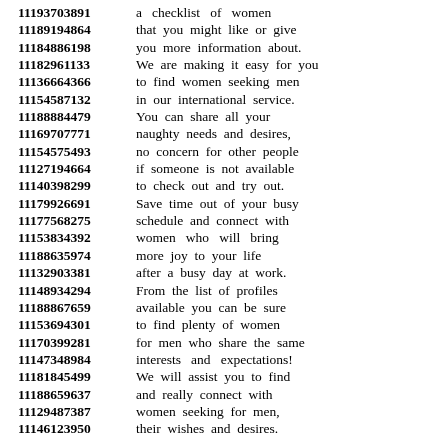11193703891 a checklist of women
11189194864 that you might like or give
11184886198 you more information about.
11182961133 We are making it easy for you
11136664366 to find women seeking men
11154587132 in our international service.
11188884479 You can share all your
11169707771 naughty needs and desires,
11154575493 no concern for other people
11127194664 if someone is not available
11140398299 to check out and try out.
11179926691 Save time out of your busy
11177568275 schedule and connect with
11153834392 women who will bring
11188635974 more joy to your life
11132903381 after a busy day at work.
11148934294 From the list of profiles
11188867659 available you can be sure
11153694301 to find plenty of women
11170399281 for men who share the same
11147348984 interests and expectations!
11181845499 We will assist you to find
11188659637 and really connect with
11129487387 women seeking for men,
11146123950 their wishes and desires.